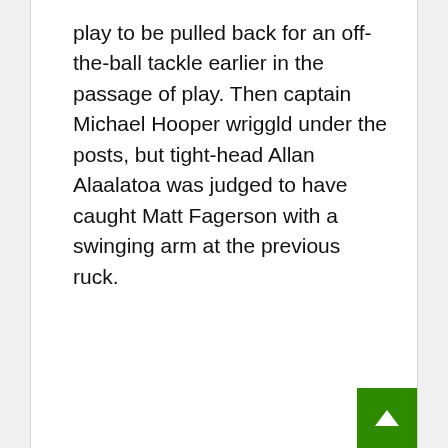play to be pulled back for an off-the-ball tackle earlier in the passage of play. Then captain Michael Hooper wriggld under the posts, but tight-head Allan Alaalatoa was judged to have caught Matt Fagerson with a swinging arm at the previous ruck.